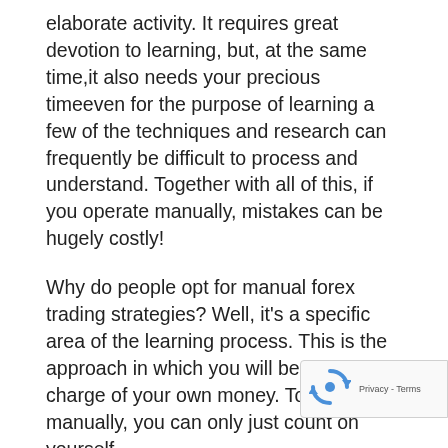elaborate activity. It requires great devotion to learning, but, at the same time,it also needs your precious timeeven for the purpose of learning a few of the techniques and research can frequently be difficult to process and understand. Together with all of this, if you operate manually, mistakes can be hugely costly!
Why do people opt for manual forex trading strategies? Well, it's a specific area of the learning process. This is the approach in which you will be the one in charge of your own money. To operate manually, you can only just count on yourself.
However, there are other options as well. As someone who has dabbled in forex trading myself, I really do recommend a trusted trading automatic robot as an addition, no alternative. Purchasing a good robot will let you achieve revenue quicker when you can spend your important learning the intricacies of the marketplace. Robots may not